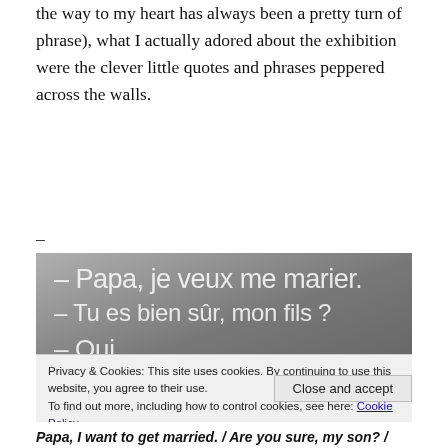the way to my heart has always been a pretty turn of phrase), what I actually adored about the exhibition were the clever little quotes and phrases peppered across the walls.
–
[Figure (photo): Photo of a museum or exhibition wall with French text in white sans-serif font on a grey background: '– Papa, je veux me marier. / – Tu es bien sûr, mon fils ? / – Oui']
Privacy & Cookies: This site uses cookies. By continuing to use this website, you agree to their use. To find out more, including how to control cookies, see here: Cookie Policy
Close and accept
Papa, I want to get married. / Are you sure, my son? /